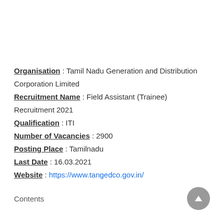Organisation : Tamil Nadu Generation and Distribution Corporation Limited
Recruitment Name : Field Assistant (Trainee) Recruitment 2021
Qualification : ITI
Number of Vacancies : 2900
Posting Place : Tamilnadu
Last Date : 16.03.2021
Website : https://www.tangedco.gov.in/
Contents